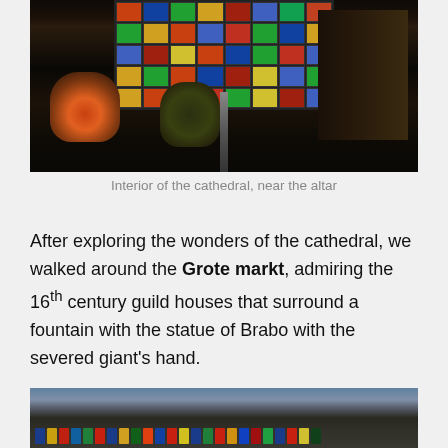[Figure (photo): Interior of a cathedral showing large stained glass windows illuminated with colorful panels, flower arrangements at the bottom, candelabra, and ornate altar decorations on the right side. The scene is dark with the windows providing the main light source.]
Interior of the cathedral, near the altar
After exploring the wonders of the cathedral, we walked around the Grote markt, admiring the 16th century guild houses that surround a fountain with the statue of Brabo with the severed giant's hand.
[Figure (photo): Exterior view of the Grote Markt in Antwerp showing historic guild houses with colorful flags and banners hanging from the facades.]